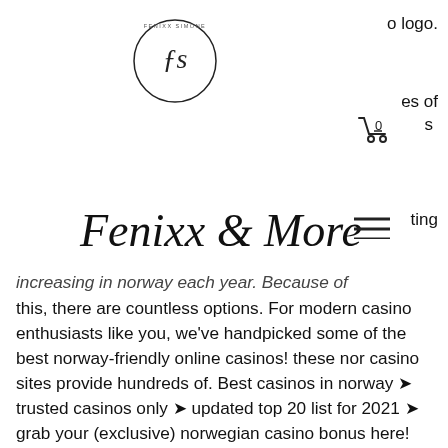[Figure (logo): Circular logo with stylized FS letters inside, thin circle border]
[Figure (logo): Fenixx Simone cursive brand name logo]
increasing in norway each year. Because of this, there are countless options. For modern casino enthusiasts like you, we've handpicked some of the best norway-friendly online casinos! these nor casino sites provide hundreds of. Best casinos in norway ➤ trusted casinos only ➤ updated top 20 list for 2021 ➤ grab your (exclusive) norwegian casino bonus here! Top online casinos norway with great bonus offers. ✓ start game the best online casino norwegian slots. ✓ best norsk casino online to win. The best online casinos in norway 2022 reviewed. Online casinos rated by professionals and